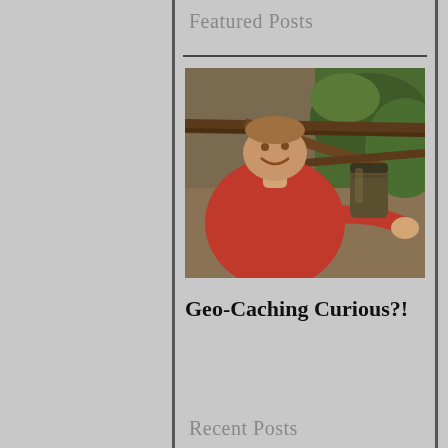Featured Posts
[Figure (photo): A smiling man in a red shirt crouching under tree branches, pointing at a camouflaged geocache container (cylindrical, dark green/brown) tied to a tree branch in an outdoor wooded setting.]
Geo-Caching Curious?!
Recent Posts